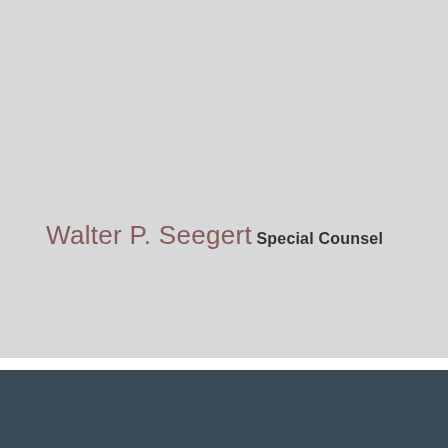Walter P. Seegert
Special Counsel
[Figure (logo): Best's Client Recommended 2018 badge/seal with red and gold circular design]
BOUVIER LAW | Main Place Tower, 350 Main Street, Suite 1800, Buffalo,